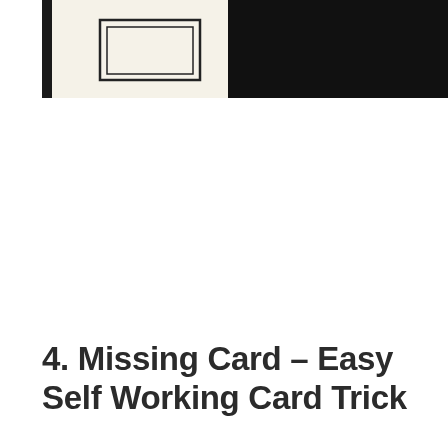[Figure (illustration): Two side-by-side images at the top of the page: left image shows a hand-drawn illustration of a book or deck of cards on a light/cream background; right image is a solid black rectangle.]
4. Missing Card – Easy Self Working Card Trick